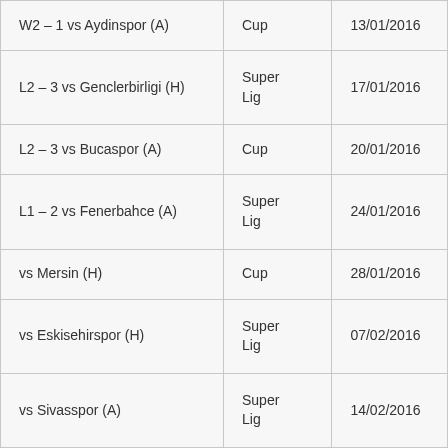| W2 – 1 vs Aydinspor (A) | Cup | 13/01/2016 |
| L2 – 3 vs Genclerbirligi (H) | Super Lig | 17/01/2016 |
| L2 – 3 vs Bucaspor (A) | Cup | 20/01/2016 |
| L1 – 2 vs Fenerbahce (A) | Super Lig | 24/01/2016 |
| vs Mersin (H) | Cup | 28/01/2016 |
| vs Eskisehirspor (H) | Super Lig | 07/02/2016 |
| vs Sivasspor (A) | Super Lig | 14/02/2016 |